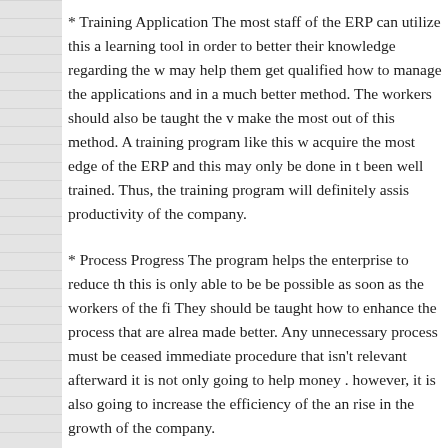* Training Application The most staff of the ERP can utilize this a learning tool in order to better their knowledge regarding the w may help them get qualified how to manage the applications and in a much better method. The workers should also be taught the v make the most out of this method. A training program like this w acquire the most edge of the ERP and this may only be done in t been well trained. Thus, the training program will definitely assis productivity of the company.
* Process Progress The program helps the enterprise to reduce th this is only able to be be possible as soon as the workers of the fi They should be taught how to enhance the process that are alrea made better. Any unnecessary process must be ceased immediate procedure that isn't relevant afterward it is not only going to help money . however, it is also going to increase the efficiency of the an rise in the growth of the company.
* Productivity improvements A excellent ERP system Malaysia v